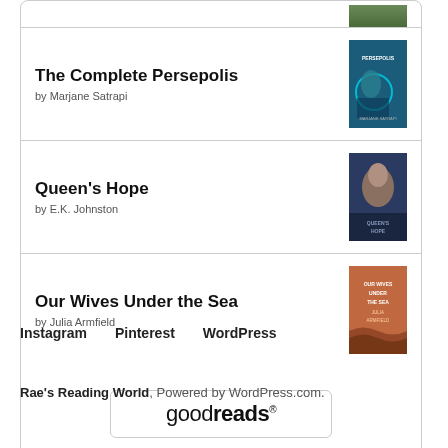[Figure (illustration): Partial book cover visible at top of widget]
The Complete Persepolis by Marjane Satrapi
Queen's Hope by E.K. Johnston
Our Wives Under the Sea by Julia Armfield
[Figure (logo): goodreads button/logo]
Instagram   Pinterest   WordPress
Rae's Reading World, Powered by WordPress.com.